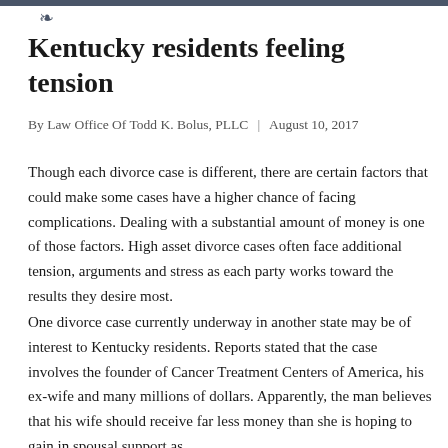[Figure (logo): Decorative flourish/logo mark at top of page]
Kentucky residents feeling tension
By Law Office Of Todd K. Bolus, PLLC | August 10, 2017
Though each divorce case is different, there are certain factors that could make some cases have a higher chance of facing complications. Dealing with a substantial amount of money is one of those factors. High asset divorce cases often face additional tension, arguments and stress as each party works toward the results they desire most.
One divorce case currently underway in another state may be of interest to Kentucky residents. Reports stated that the case involves the founder of Cancer Treatment Centers of America, his ex-wife and many millions of dollars. Apparently, the man believes that his wife should receive far less money than she is hoping to gain in spousal support as